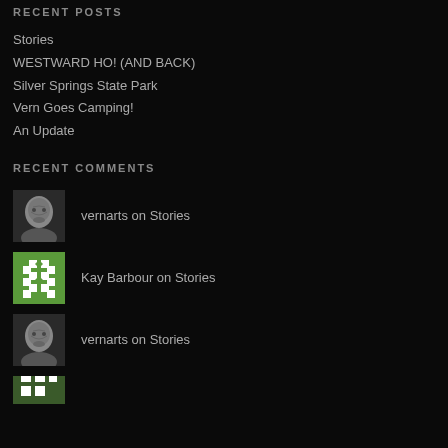RECENT POSTS
Stories
WESTWARD HO! (AND BACK)
Silver Springs State Park
Vern Goes Camping!
An Update
RECENT COMMENTS
vernarts on Stories
Kay Barbour on Stories
vernarts on Stories